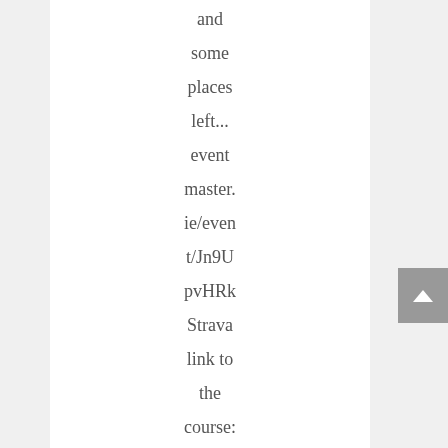and some places left... event master. ie/event/Jn9U pvHRk Strava link to the course: https:/ /tinyu rl.com/